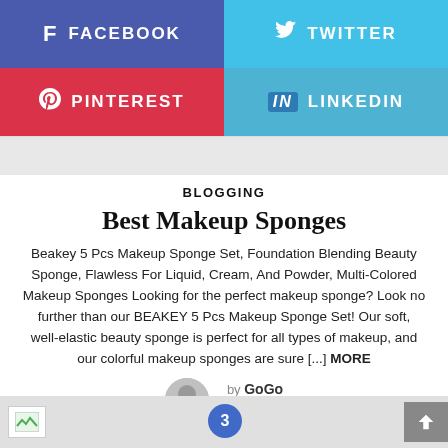[Figure (other): Social media share buttons: Facebook (blue-purple), Twitter (light blue), Pinterest (red), LinkedIn (light blue)]
BLOGGING
Best Makeup Sponges
Beakey 5 Pcs Makeup Sponge Set, Foundation Blending Beauty Sponge, Flawless For Liquid, Cream, And Powder, Multi-Colored Makeup Sponges Looking for the perfect makeup sponge? Look no further than our BEAKEY 5 Pcs Makeup Sponge Set! Our soft, well-elastic beauty sponge is perfect for all types of makeup, and our colorful makeup sponges are sure [...] MORE
by GoGo
a day ago
[Figure (other): Footer bar with image placeholder, pagination number 3, and scroll-to-top button]